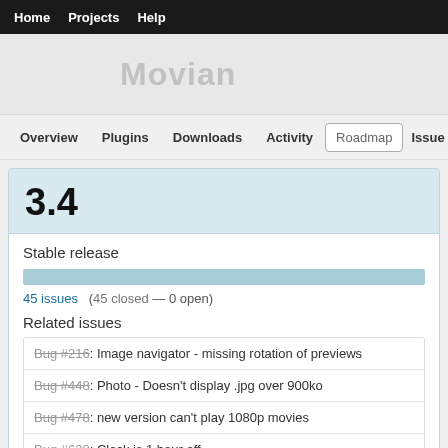Home   Projects   Help
Movian
Overview   Plugins   Downloads   Activity   Roadmap   Issues
3.4
Stable release
45 issues   (45 closed — 0 open)
Related issues
Bug #216: Image navigator - missing rotation of previews
Bug #448: Photo - Doesn't display .jpg over 900ko
Bug #478: new version can't play 1080p movies
Bug #628: Clock is 1 hour off.
Bug #716: Video list disappears permanently